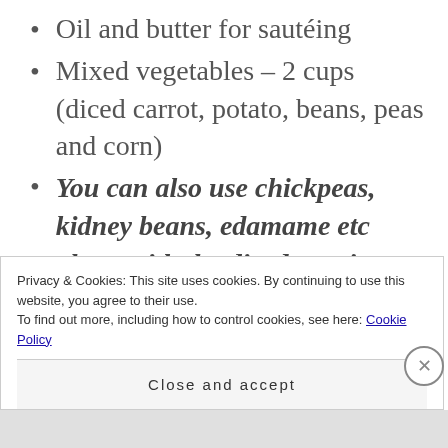Oil and butter for sautéing
Mixed vegetables – 2 cups (diced carrot, potato, beans, peas and corn)
You can also use chickpeas, kidney beans, edamame etc along with the diced veggies
Privacy & Cookies: This site uses cookies. By continuing to use this website, you agree to their use.
To find out more, including how to control cookies, see here: Cookie Policy
Close and accept